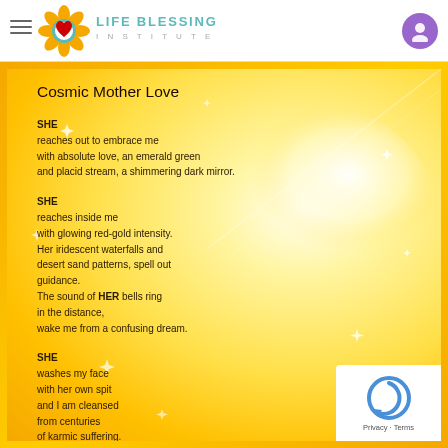Life Blessing Institute — navigation header with logo
important and encouragement story for others. It teaches draw from when facing the challenges and obstacles of their lives. YOU ARE A HERO in the most...
[Figure (illustration): Golden-background poem card with glowing radial light effect and sparkles. Contains the poem 'Cosmic Mother Love' with three stanzas about SHE who embraces, reaches inside, and washes the narrator.]
Cosmic Mother Love
SHE
reaches out to embrace me
with absolute love, an emerald green
and placid stream, a shimmering dark mirror.
SHE
reaches inside me
with glowing red-gold intensity.
Her iridescent waterfalls and
desert sand patterns, spell out
guidance.
The sound of HER bells ring
in the distance,
wake me from a confusing dream.
SHE
washes my face
with her own spit
and I am cleansed
from centuries
of karmic suffering.